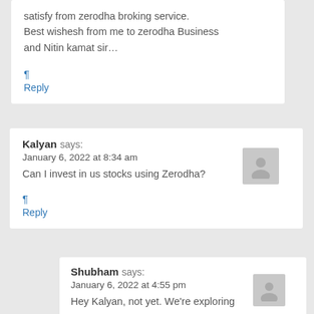satisfy from zerodha broking service. Best wishesh from me to zerodha Business and Nitin kamat sir…
¶
Reply
Kalyan says:
January 6, 2022 at 8:34 am
Can I invest in us stocks using Zerodha?
¶
Reply
Shubham says:
January 6, 2022 at 4:55 pm
Hey Kalyan, not yet. We're exploring